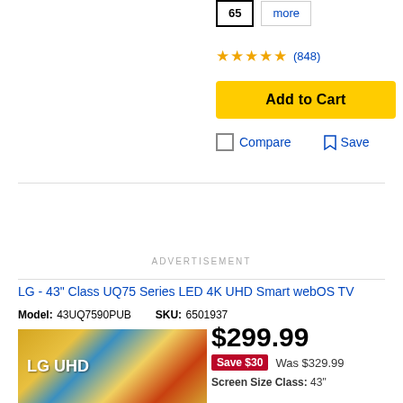65 | more
★★★★★ (848)
Add to Cart
Compare   Save
ADVERTISEMENT
LG - 43" Class UQ75 Series LED 4K UHD Smart webOS TV
Model: 43UQ7590PUB   SKU: 6501937
[Figure (photo): LG UHD TV product photo with colorful nature imagery background]
$299.99
Save $30  Was $329.99
Screen Size Class: 43"